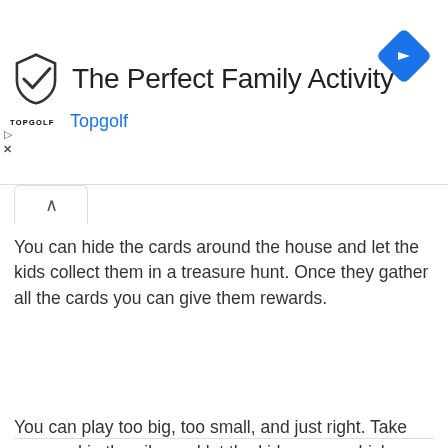[Figure (screenshot): Topgolf advertisement banner with shield logo, title 'The Perfect Family Activity', brand name 'Topgolf' in blue, a blue diamond navigation icon, and ad controls (play/close buttons).]
You can hide the cards around the house and let the kids collect them in a treasure hunt. Once they gather all the cards you can give them rewards.
You can play too big, too small, and just right. Take one card in the pile, and let the kids guess which number you're holding. Tell them if the number they guess is too big or too small until they guess it just right.
You can also corporate physical activity into this. Let the kid pick a random card and then they can clap or jump the number of times of the card.